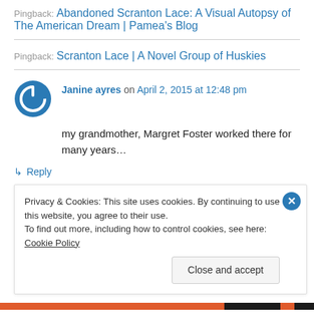Pingback: Abandoned Scranton Lace: A Visual Autopsy of The American Dream | Pamea's Blog
Pingback: Scranton Lace | A Novel Group of Huskies
Janine ayres on April 2, 2015 at 12:48 pm
my grandmother, Margret Foster worked there for many years…
↳ Reply
Privacy & Cookies: This site uses cookies. By continuing to use this website, you agree to their use. To find out more, including how to control cookies, see here: Cookie Policy
Close and accept